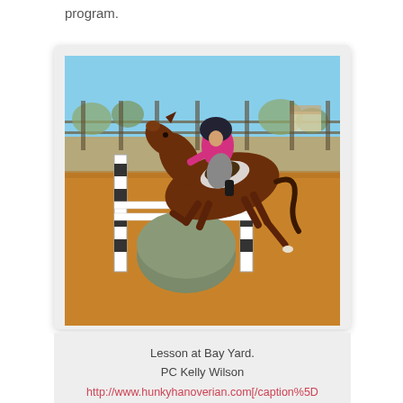program.
[Figure (photo): A rider in a pink top and helmet jumping a bay horse over a white fence obstacle at Bay Yard equestrian facility. Sandy arena footing, wooden fence in background, clear blue sky.]
Lesson at Bay Yard.
PC Kelly Wilson
http://www.hunkyhanoverian.com[/caption%5D